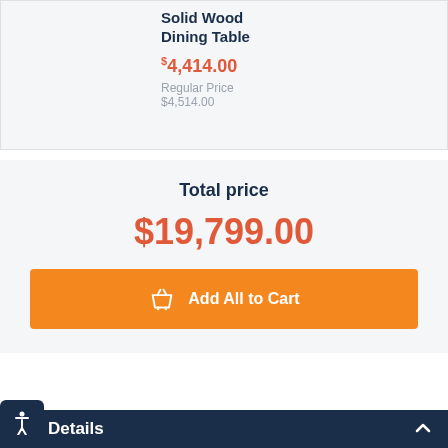Solid Wood Dining Table
$4,414.00
Regular Price $4,514.00
Total price
$19,799.00
Add All to Cart
Details